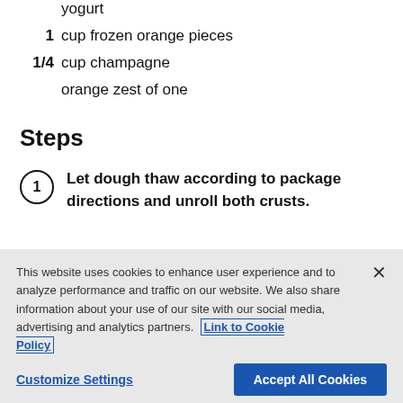yogurt
1  cup frozen orange pieces
1/4  cup champagne
orange zest of one
Steps
1  Let dough thaw according to package directions and unroll both crusts.
This website uses cookies to enhance user experience and to analyze performance and traffic on our website. We also share information about your use of our site with our social media, advertising and analytics partners. Link to Cookie Policy
Customize Settings  Accept All Cookies